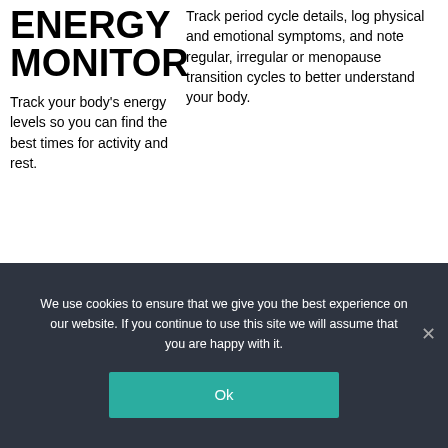ENERGY MONITOR
Track your body's energy levels so you can find the best times for activity and rest.
Track period cycle details, log physical and emotional symptoms, and note regular, irregular or menopause transition cycles to better understand your body.
We use cookies to ensure that we give you the best experience on our website. If you continue to use this site we will assume that you are happy with it.
Ok